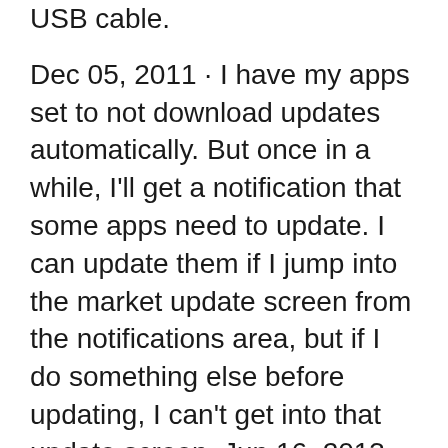USB cable.
Dec 05, 2011 · I have my apps set to not download updates automatically. But once in a while, I'll get a notification that some apps need to update. I can update them if I jump into the market update screen from the notifications area, but if I do something else before updating, I can't get into that update screen. Jun 16, 2013 · How do I manually update apps on Android (Galaxy Note 2)? Select 'My apps' from that menu and then update them by click on each one and doing it manually. OR by clicking 'update all' at the top of the list. 0 2 0. Login to reply the answers Post; miyanaga. You can individually update apps or hit the button at the top to update them all